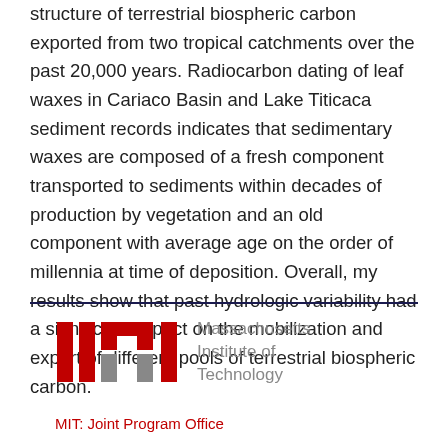structure of terrestrial biospheric carbon exported from two tropical catchments over the past 20,000 years. Radiocarbon dating of leaf waxes in Cariaco Basin and Lake Titicaca sediment records indicates that sedimentary waxes are composed of a fresh component transported to sediments within decades of production by vegetation and an old component with average age on the order of millennia at time of deposition. Overall, my results show that past hydrologic variability had a significant impact on the mobilization and export of different pools of terrestrial biospheric carbon.
[Figure (logo): MIT logo — red and gray block letter design with text 'Massachusetts Institute of Technology']
MIT: Joint Program Office